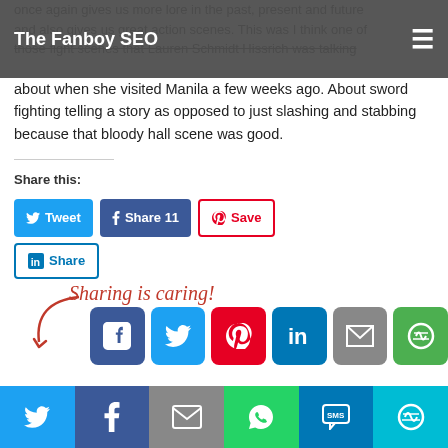The Fanboy SEO
once again gives us more lore in the past, present and future and also gives us great action scenes. This was I think one of those fight scenes that Lauren Schmidt Hissrich was talking about when she visited Manila a few weeks ago. About sword fighting telling a story as opposed to just slashing and stabbing because that bloody hall scene was good.
Share this:
[Figure (infographic): Social sharing buttons: Tweet, Share 11 (Facebook), Save (Pinterest), Share (LinkedIn)]
[Figure (infographic): Sharing is caring! section with Facebook, Twitter, Pinterest, LinkedIn, Email, and More Options icon buttons]
You may also like:
[Figure (infographic): Bottom sharing bar with Twitter, Facebook, Email, WhatsApp, SMS, and More Options buttons]